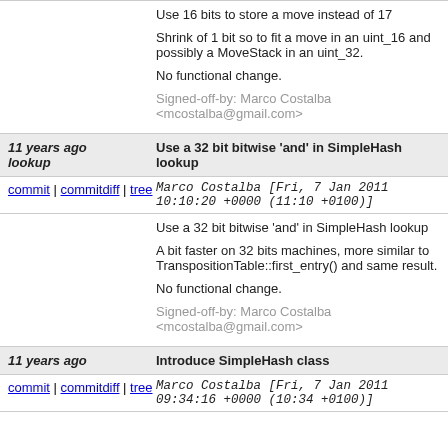Use 16 bits to store a move instead of 17

Shrink of 1 bit so to fit a move in an uint_16 and possibly a MoveStack in an uint_32.

No functional change.

Signed-off-by: Marco Costalba <mcostalba@gmail.com>
11 years ago lookup | Use a 32 bit bitwise 'and' in SimpleHash lookup
commit | commitdiff | tree   Marco Costalba [Fri, 7 Jan 2011 10:10:20 +0000 (11:10 +0100)]
Use a 32 bit bitwise 'and' in SimpleHash lookup

A bit faster on 32 bits machines, more similar to TranspositionTable::first_entry() and same result.

No functional change.

Signed-off-by: Marco Costalba <mcostalba@gmail.com>
11 years ago | Introduce SimpleHash class
commit | commitdiff | tree   Marco Costalba [Fri, 7 Jan 2011 09:34:16 +0000 (10:34 +0100)]